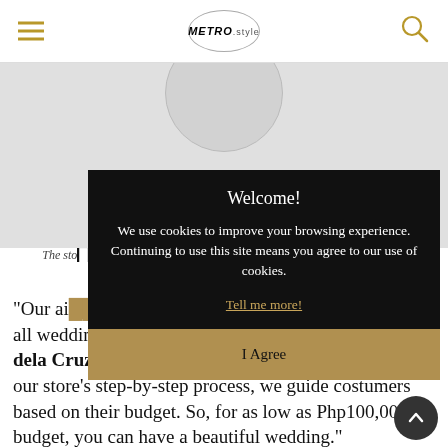METRO.style
[Figure (photo): Gray photo area with circular graphic at top, representing a wedding-related image partially obscured by cookie banner]
The sto... wedding gown, ... naobra
[Figure (screenshot): Cookie consent overlay with black background reading: Welcome! We use cookies to improve your browsing experience. Continuing to use this site means you agree to our use of cookies. Tell me more! / I Agree button]
“Our ai... pe of bride. It’s all wedding essentials in one roof,” founder Trishie dela Cruz explains. “Each bride is unique, and so with our store’s step-by-step process, we guide costumers based on their budget. So, for as low as Php100,000 budget, you can have a beautiful wedding."